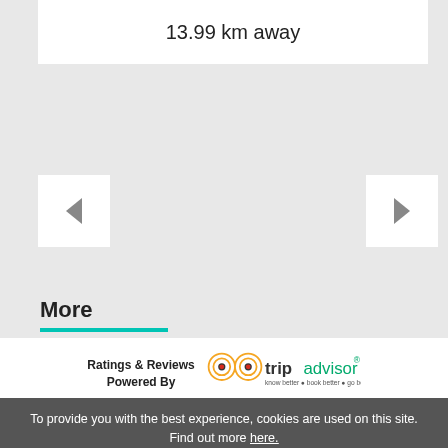13.99 km away
[Figure (screenshot): Navigation left arrow button]
[Figure (screenshot): Navigation right arrow button]
More
[Figure (logo): TripAdvisor logo with text: Ratings & Reviews Powered By, know better · book better · go better]
To provide you with the best experience, cookies are used on this site. Find out more here.
Hide this message